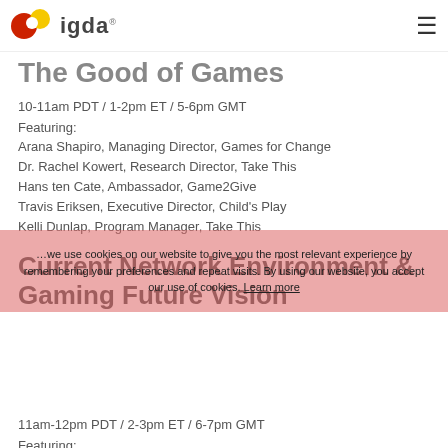igda
The Good of Games
10-11am PDT / 1-2pm ET / 5-6pm GMT
Featuring:
Arana Shapiro, Managing Director, Games for Change
Dr. Rachel Kowert, Research Director, Take This
Hans ten Cate, Ambassador, Game2Give
Travis Eriksen, Executive Director, Child's Play
Kelli Dunlap, Program Manager, Take This
Current Network Environment & Gaming Future Vision
11am-12pm PDT / 2-3pm ET / 6-7pm GMT
Featuring:
Steve Glennon, Distinguished Technologist, Cable labs